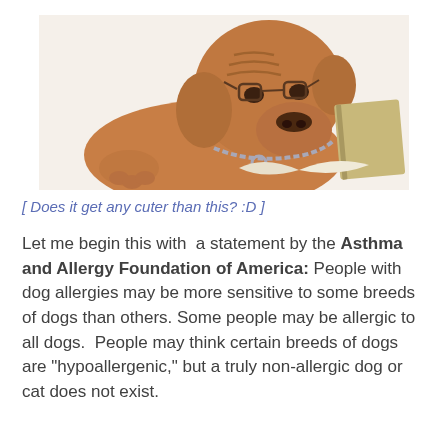[Figure (photo): A large brown Dogue de Bordeaux (French Mastiff) wearing glasses and a chain collar, lying down next to an open book, looking studious and cute against a white background.]
[ Does it get any cuter than this? :D ]
Let me begin this with a statement by the Asthma and Allergy Foundation of America: People with dog allergies may be more sensitive to some breeds of dogs than others. Some people may be allergic to all dogs. People may think certain breeds of dogs are "hypoallergenic," but a truly non-allergic dog or cat does not exist.